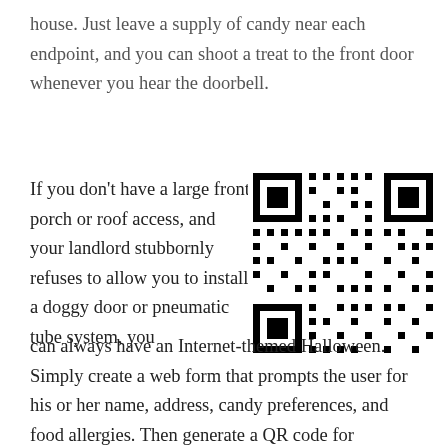house. Just leave a supply of candy near each endpoint, and you can shoot a treat to the front door whenever you hear the doorbell.
If you don't have a large front porch or roof access, and your landlord stubbornly refuses to allow you to install a doggy door or pneumatic tube system, you can always have an Internet-themed Halloween. Simply create a web form that prompts the user for his or her name, address, candy preferences, and food allergies. Then generate a QR code for
[Figure (other): QR code image]